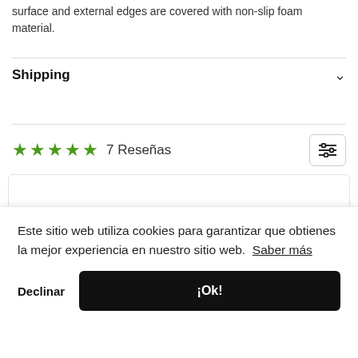surface and external edges are covered with non-slip foam material.
Shipping
★★★★★ 7 Reseñas
Este sitio web utiliza cookies para garantizar que obtienes la mejor experiencia en nuestro sitio web. Saber más
Declinar
¡Ok!
Tipo de artículo:
web pero aún no he